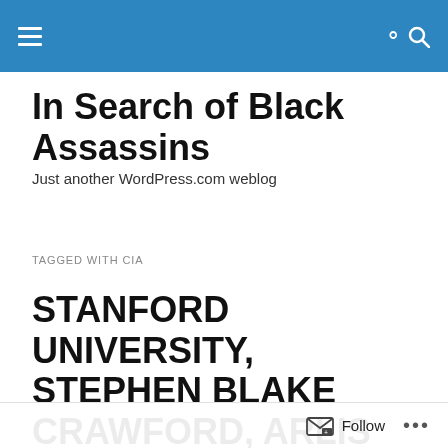In Search of Black Assassins — Just another WordPress.com weblog
In Search of Black Assassins
Just another WordPress.com weblog
TAGGED WITH CIA
STANFORD UNIVERSITY, STEPHEN BLAKE CRAWFORD, ARLIS PERRY & THE STANFORD UNIVERSITY CIA MITHRAS SERIAL SACRIFICIAL SLAYINGS